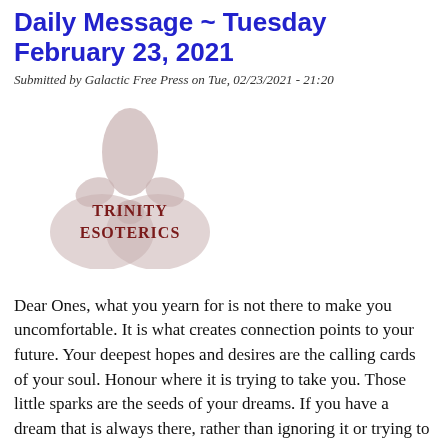Daily Message ~ Tuesday February 23, 2021
Submitted by Galactic Free Press on Tue, 02/23/2021 - 21:20
[Figure (logo): Trinity Esoterics logo: a fleur-de-lis symbol in muted rose/taupe above two overlapping circles, with the text 'TRINITY ESOTERICS' in dark red serif font]
Dear Ones, what you yearn for is not there to make you uncomfortable. It is what creates connection points to your future. Your deepest hopes and desires are the calling cards of your soul. Honour where it is trying to take you. Those little sparks are the seeds of your dreams. If you have a dream that is always there, rather than ignoring it or trying to